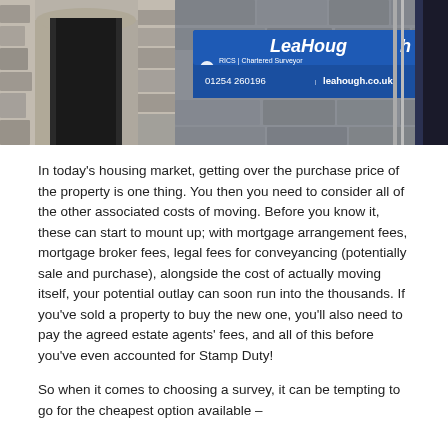[Figure (photo): Two side-by-side photos: left shows a stone doorway/archway of a building; right shows a blue LeaHough RICS Chartered Surveyors sign mounted on a stone wall reading '01254 260196 | leahough.co.uk']
In today's housing market, getting over the purchase price of the property is one thing. You then you need to consider all of the other associated costs of moving. Before you know it, these can start to mount up; with mortgage arrangement fees, mortgage broker fees, legal fees for conveyancing (potentially sale and purchase), alongside the cost of actually moving itself, your potential outlay can soon run into the thousands. If you've sold a property to buy the new one, you'll also need to pay the agreed estate agents' fees, and all of this before you've even accounted for Stamp Duty!
So when it comes to choosing a survey, it can be tempting to go for the cheapest option available –